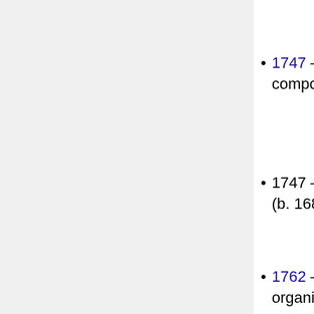engraver and publisher (b. 1593)
1747 – Alessandro Marcello, Italian composer and educator (b. 1669)
1747 – Nader Shah, Persian leader (b. 1688)
1762 – Johann Ernst Eberlin, German organist and composer (b. 1702)
1768 – Benjamin Tasker Sr., American soldier